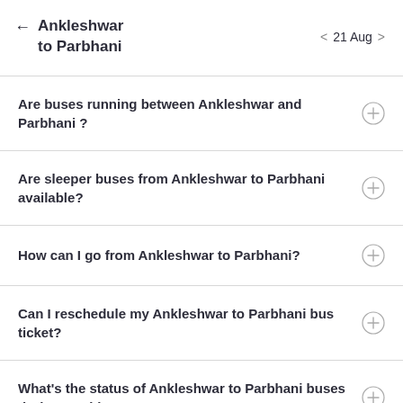Ankleshwar to Parbhani  21 Aug
Are buses running between Ankleshwar and Parbhani ?
Are sleeper buses from Ankleshwar to Parbhani available?
How can I go from Ankleshwar to Parbhani?
Can I reschedule my Ankleshwar to Parbhani bus ticket?
What's the status of Ankleshwar to Parbhani buses during Covid-19?